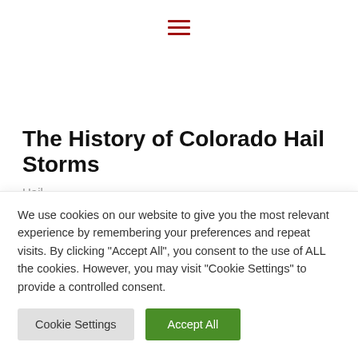[Figure (other): Hamburger menu icon with three horizontal dark red lines]
The History of Colorado Hail Storms
Hail
We use cookies on our website to give you the most relevant experience by remembering your preferences and repeat visits. By clicking "Accept All", you consent to the use of ALL the cookies. However, you may visit "Cookie Settings" to provide a controlled consent.
Cookie Settings | Accept All